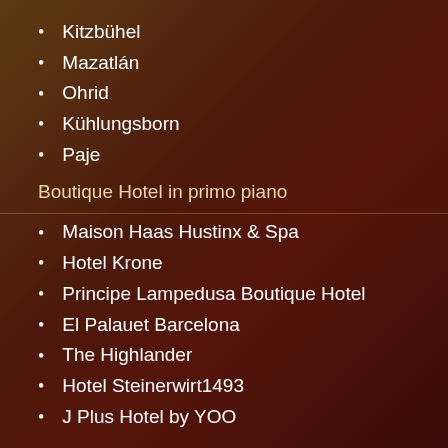Kitzbühel
Mazatlán
Ohrid
Kühlungsborn
Paje
Boutique Hotel in primo piano
Maison Haas Hustinx & Spa
Hotel Krone
Principe Lampedusa Boutique Hotel
El Palauet Barcelona
The Highlander
Hotel Steinerwirt1493
J Plus Hotel by YOO